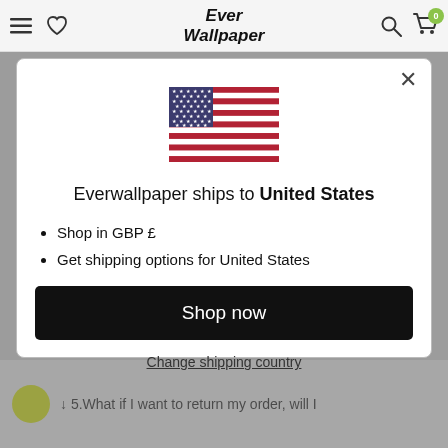Ever Wallpaper
[Figure (illustration): US flag emoji/icon centered in modal]
Everwallpaper ships to United States
Shop in GBP £
Get shipping options for United States
Shop now
Change shipping country
↓ 5.What if I want to return my order, will I